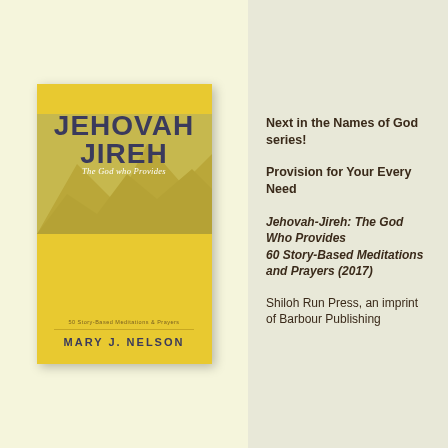[Figure (illustration): Book cover of 'Jehovah-Jireh: The God Who Provides' by Mary J. Nelson. Yellow cover with dark blue bold text reading JEHOVAH JIREH, italic script subtitle 'The God who Provides', mountain/sky background image, text '50 Story-Based Meditations & Prayers', and author name MARY J. NELSON at bottom.]
Next in the Names of God series!
Provision for Your Every Need
Jehovah-Jireh: The God Who Provides 60 Story-Based Meditations and Prayers (2017)
Shiloh Run Press, an imprint of Barbour Publishing